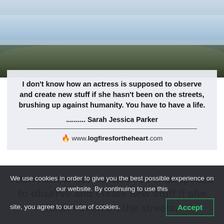[Figure (photo): Coastal scene with rocky shoreline, ocean waves, and cloudy sky viewed from above]
I don't know how an actress is supposed to observe and create new stuff if she hasn't been on the streets, brushing up against humanity. You have to have a life. .......... Sarah Jessica Parker
🔥 www.logfiresfortheheart.com
I don't know how an actress is supposed to observe and create new stuff if she hasn't been on the streets,
We use cookies in order to give you the best possible experience on our website. By continuing to use this site, you agree to our use of cookies. Accept